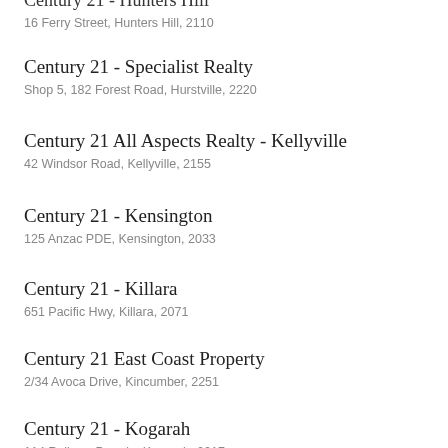Century 21 - Hunters Hill
16 Ferry Street, Hunters Hill, 2110
Century 21 - Specialist Realty
Shop 5, 182 Forest Road, Hurstville, 2220
Century 21 All Aspects Realty - Kellyville
42 Windsor Road, Kellyville, 2155
Century 21 - Kensington
125 Anzac PDE, Kensington, 2033
Century 21 - Killara
651 Pacific Hwy, Killara, 2071
Century 21 East Coast Property
2/34 Avoca Drive, Kincumber, 2251
Century 21 - Kogarah
114 Railway Parade, Kogarah, 2217